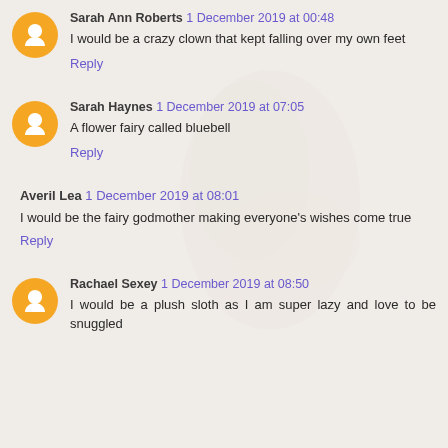Sarah Ann Roberts 1 December 2019 at 00:48
I would be a crazy clown that kept falling over my own feet
Reply
Sarah Haynes 1 December 2019 at 07:05
A flower fairy called bluebell
Reply
Averil Lea 1 December 2019 at 08:01
I would be the fairy godmother making everyone's wishes come true
Reply
Rachael Sexey 1 December 2019 at 08:50
I would be a plush sloth as I am super lazy and love to be snuggled